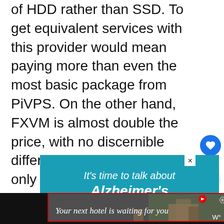of HDD rather than SSD. To get equivalent services with this provider would mean paying more than even the most basic package from PiVPS. On the other hand, FXVM is almost double the price, with no discernible difference in service, which only makes it expensive.
[Figure (other): Advertisement banner with teal/blue background: 'It's time to talk about Alzheimer's' with LEARN MORE button and alz.org/ourstories URL]
[Figure (other): What's Next panel showing 'The 3 Best VPS for Fore...' with thumbnail image]
[Figure (other): Bottom advertisement bar: 'Your next hotel is waiting for you' on dark background with scenic photo]